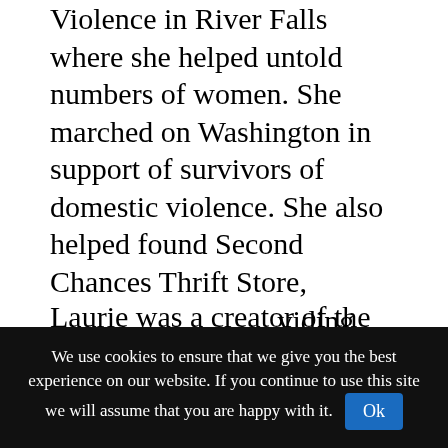Violence in River Falls where she helped untold numbers of women. She marched on Washington in support of survivors of domestic violence. She also helped found Second Chances Thrift Store, ______________________ viding programming and resources for survivors of domestic and sexual violence to rebuild their lives.
Laurie was a creator of the Hunger Prevention Council of Pierce County, which helps address food insecurity and coordinates distribution of food to all Pierce County food pantries. She found joy in helping others and would give you the shirt off her back. She helped people in any way she could.
For the past 14 years, she ________________________________ store in Ellsworth, called Tried & True. She will forever be remembered for her kind and gentle spirit, quiet
We use cookies to ensure that we give you the best experience on our website. If you continue to use this site we will assume that you are happy with it. Ok